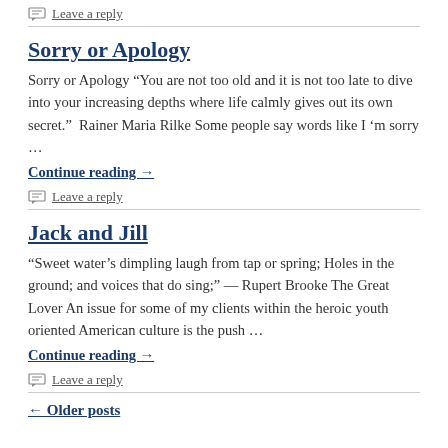Leave a reply
Sorry or Apology
Sorry or Apology “You are not too old and it is not too late to dive into your increasing depths where life calmly gives out its own secret.”  Rainer Maria Rilke Some people say words like I ‘m sorry …
Continue reading →
Leave a reply
Jack and Jill
“Sweet water’s dimpling laugh from tap or spring; Holes in the ground; and voices that do sing;” — Rupert Brooke The Great Lover An issue for some of my clients within the heroic youth oriented American culture is the push …
Continue reading →
Leave a reply
← Older posts